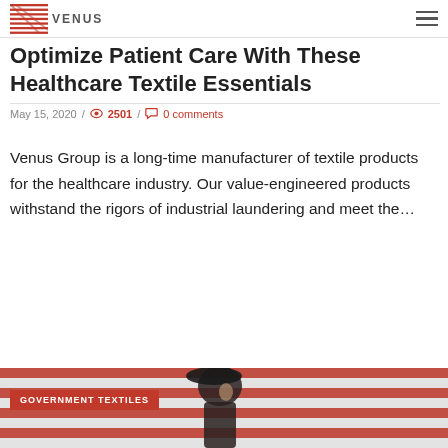VENUS
Optimize Patient Care With These Healthcare Textile Essentials
May 15, 2020 / 2501 / 0 comments
Venus Group is a long-time manufacturer of textile products for the healthcare industry. Our value-engineered products withstand the rigors of industrial laundering and meet the...
Continue Reading
[Figure (photo): A soldier in a black beret viewed in profile against an American flag background, with a red overlay label reading GOVERNMENT TEXTILES]